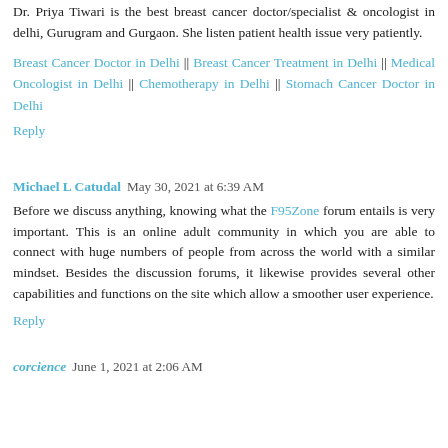Dr. Priya Tiwari is the best breast cancer doctor/specialist & oncologist in delhi, Gurugram and Gurgaon. She listen patient health issue very patiently.
Breast Cancer Doctor in Delhi || Breast Cancer Treatment in Delhi || Medical Oncologist in Delhi || Chemotherapy in Delhi || Stomach Cancer Doctor in Delhi
Reply
Michael L Catudal  May 30, 2021 at 6:39 AM
Before we discuss anything, knowing what the F95Zone forum entails is very important. This is an online adult community in which you are able to connect with huge numbers of people from across the world with a similar mindset. Besides the discussion forums, it likewise provides several other capabilities and functions on the site which allow a smoother user experience.
Reply
corcience  June 1, 2021 at 2:06 AM